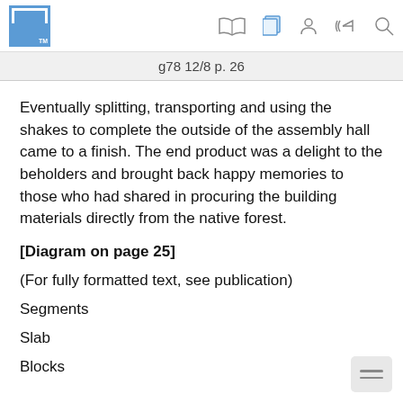g78 12/8 p. 26
Eventually splitting, transporting and using the shakes to complete the outside of the assembly hall came to a finish. The end product was a delight to the beholders and brought back happy memories to those who had shared in procuring the building materials directly from the native forest.
[Diagram on page 25]
(For fully formatted text, see publication)
Segments
Slab
Blocks